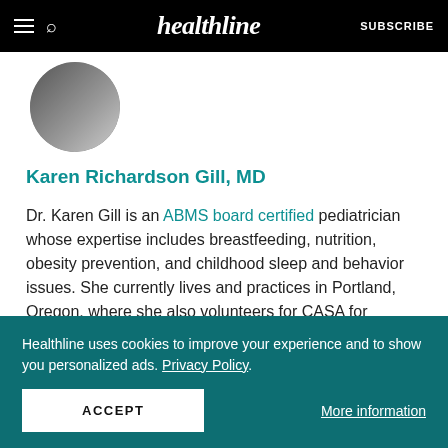healthline  SUBSCRIBE
[Figure (photo): Partial circular profile photo of Dr. Karen Richardson Gill, MD, cropped at top]
Karen Richardson Gill, MD
Dr. Karen Gill is an ABMS board certified pediatrician whose expertise includes breastfeeding, nutrition, obesity prevention, and childhood sleep and behavior issues. She currently lives and practices in Portland, Oregon, where she also volunteers for CASA for Children and the Red Cross.
Healthline uses cookies to improve your experience and to show you personalized ads. Privacy Policy.
ACCEPT
More information